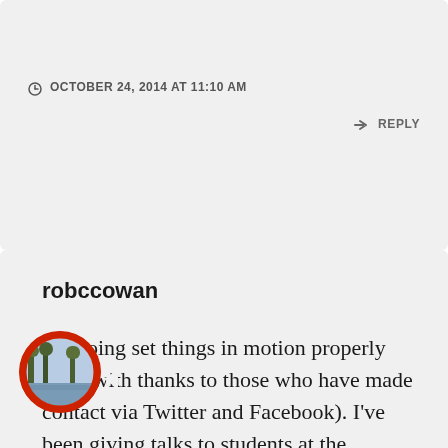OCTOBER 24, 2014 AT 11:10 AM
↳ REPLY
robccowan
I'm going set things in motion properly here (with thanks to those who have made contact via Twitter and Facebook). I've been giving talks to students at the